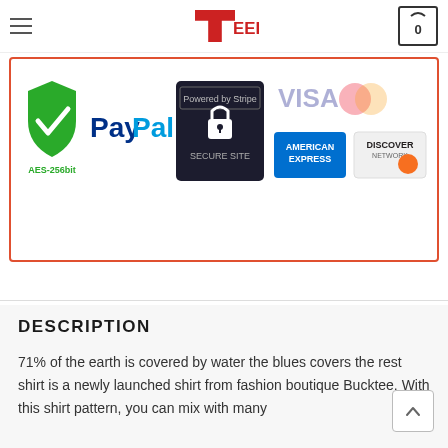Teeress — navigation header with hamburger menu and cart (0)
[Figure (infographic): Guaranteed SAFE Checkout banner with payment method logos: AES-256bit green shield, PayPal, Stripe Secure Site (Powered by Stripe), Visa, American Express, Discover Network — bordered in red-orange]
DESCRIPTION
71% of the earth is covered by water the blues covers the rest shirt is a newly launched shirt from fashion boutique Bucktee. With this shirt pattern, you can mix with many